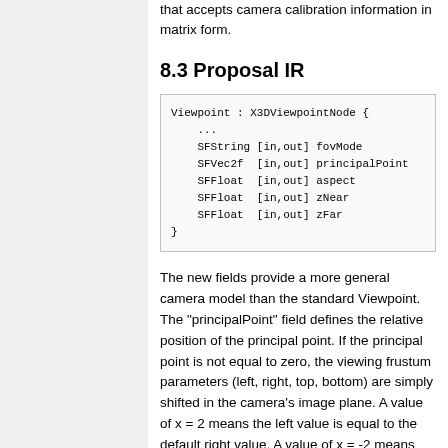that accepts camera calibration information in matrix form.
8.3 Proposal IR
[Figure (screenshot): Code block showing Viewpoint node definition: Viewpoint : X3DViewpointNode { ... SFString [in,out] fovMode SFVec2f [in,out] principalPoint SFFloat [in,out] aspect SFFloat [in,out] zNear SFFloat [in,out] zFar }]
The new fields provide a more general camera model than the standard Viewpoint. The "principalPoint" field defines the relative position of the principal point. If the principal point is not equal to zero, the viewing frustum parameters (left, right, top, bottom) are simply shifted in the camera's image plane. A value of x = 2 means the left value is equal to the default right value. A value of x = -2 means the right value is equal to default. If the principal